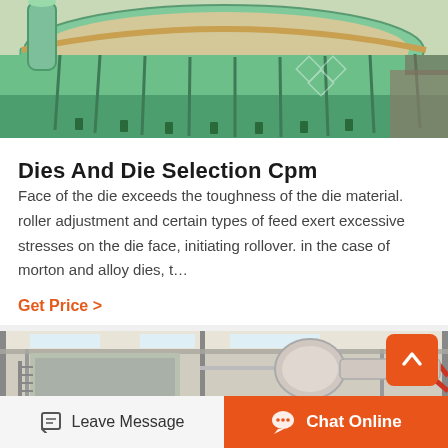[Figure (photo): Industrial green-painted large circular die/drum machinery viewed from above at an angle, showing metal framework and structure]
Dies And Die Selection Cpm
Face of the die exceeds the toughness of the die material. roller adjustment and certain types of feed exert excessive stresses on the die face, initiating rollover. in the case of morton and alloy dies, t…
Get Price  >
[Figure (photo): Industrial warehouse/factory interior showing machinery, metal structures, and equipment]
Leave Message   Chat Online